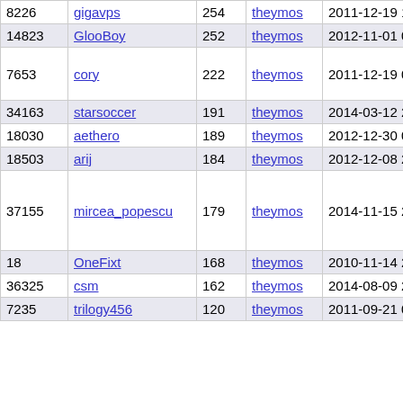| 8226 | gigavps | 254 | theymos | 2011-12-19 19:16:31 |
| 14823 | GlooBoy | 252 | theymos | 2012-11-01 01:18:58 |
| 7653 | cory | 222 | theymos | 2011-12-19 02:10:22 |
| 34163 | starsoccer | 191 | theymos | 2014-03-12 21:52:07 |
| 18030 | aethero | 189 | theymos | 2012-12-30 02:11:46 |
| 18503 | arij | 184 | theymos | 2012-12-08 23:57:32 |
| 37155 | mircea_popescu | 179 | theymos | 2014-11-15 20:18:51 |
| 18 | OneFixt | 168 | theymos | 2010-11-14 21:39:16 |
| 36325 | csm | 162 | theymos | 2014-08-09 21:44:51 |
| 7235 | trilogy456 | 120 | theymos | 2011-09-21 02:29:31 |